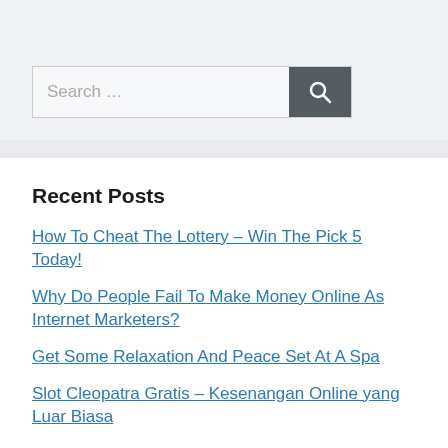[Figure (other): Search bar with text input field showing placeholder 'Search …' and a dark grey search button with magnifying glass icon]
Recent Posts
How To Cheat The Lottery – Win The Pick 5 Today!
Why Do People Fail To Make Money Online As Internet Marketers?
Get Some Relaxation And Peace Set At A Spa
Slot Cleopatra Gratis – Kesenangan Online yang Luar Biasa